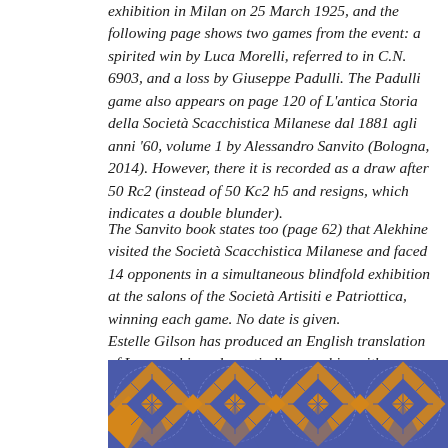exhibition in Milan on 25 March 1925, and the following page shows two games from the event: a spirited win by Luca Morelli, referred to in C.N. 6903, and a loss by Giuseppe Padulli. The Padulli game also appears on page 120 of L'antica Storia della Società Scacchistica Milanese dal 1881 agli anni '60, volume 1 by Alessandro Sanvito (Bologna, 2014). However, there it is recorded as a draw after 50 Rc2 (instead of 50 Kc2 h5 and resigns, which indicates a double blunder).
The Sanvito book states too (page 62) that Alekhine visited the Società Scacchistica Milanese and faced 14 opponents in a simultaneous blindfold exhibition at the salons of the Società Artisiti e Patriottica, winning each game. No date is given.
Estelle Gilson has produced an English translation of La scacchiera davanti allo specchio, with original illustrations: The Chess Set in the Mirror (Philadelphia, 2007).'
[Figure (illustration): Decorative ornamental pattern with blue background and gold/orange diamond checkerboard motifs arranged in repeating circles.]